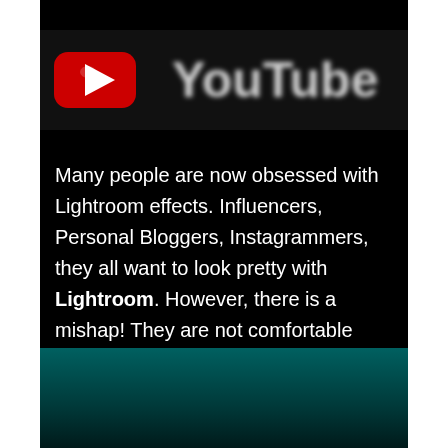[Figure (logo): YouTube logo with red play button icon on left and blurred grey 'YouTube' wordmark text on right, on dark background]
Many people are now obsessed with Lightroom effects. Influencers, Personal Bloggers, Instagrammers, they all want to look pretty with Lightroom. However, there is a mishap! They are not comfortable with using the Software at the first place. They want to learn and look for tutorials on YouTube.
[Figure (illustration): Teal/dark green gradient bottom bar element]